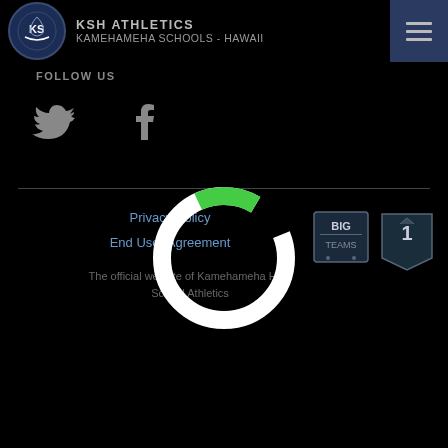[Figure (logo): KSH Athletics logo - circular emblem with stylized KS letters on dark blue background]
KSH ATHLETICS
KAMEHAMEHA SCHOOLS - HAWAII
[Figure (illustration): Hamburger menu icon (three horizontal lines) on dark blue background, top right corner]
FOLLOW US
[Figure (illustration): Twitter bird icon (gray) and Facebook F icon (gray) - social media icons]
Privacy Policy
End User Agreement
The official website of Kamehameha High School Athletics
[Figure (illustration): BigTeams logo badge and number 1 athletic badge - partner logos on the right side]
[Figure (other): Loading spinner - large white circle ring with green arc at bottom, centered over the footer area]